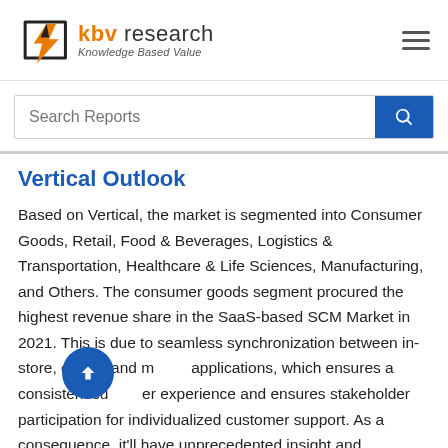KBV Research — Knowledge Based Value
Vertical Outlook
Based on Vertical, the market is segmented into Consumer Goods, Retail, Food & Beverages, Logistics & Transportation, Healthcare & Life Sciences, Manufacturing, and Others. The consumer goods segment procured the highest revenue share in the SaaS-based SCM Market in 2021. This is due to seamless synchronization between in-store, online, and mobile applications, which ensures a consistent customer experience and ensures stakeholder participation for individualized customer support. As a consequence, it'll have unprecedented insight and